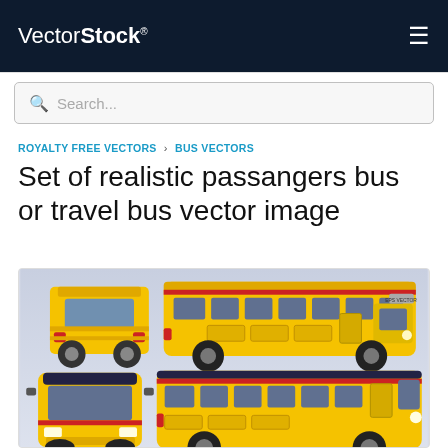VectorStock® [hamburger menu]
Search...
ROYALTY FREE VECTORS › BUS VECTORS
Set of realistic passangers bus or travel bus vector image
[Figure (illustration): Set of realistic passenger buses / travel buses shown from multiple angles: rear view (top-left), front view (bottom-left), side view top (right-top), and side view bottom (right-bottom). Buses are yellow with dark windows, red/blue accent stripes, and black wheels. Background is light gray-blue gradient.]